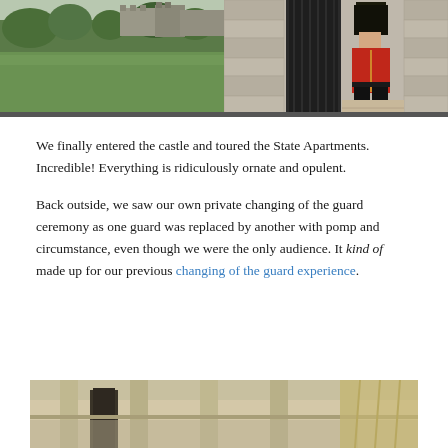[Figure (photo): Two side-by-side photos: left shows Windsor Castle grounds with green lawn and castle walls in background; right shows a royal guard in red uniform and black bearskin hat standing in a stone archway.]
We finally entered the castle and toured the State Apartments. Incredible! Everything is ridiculously ornate and opulent.
Back outside, we saw our own private changing of the guard ceremony as one guard was replaced by another with pomp and circumstance, even though we were the only audience. It kind of made up for our previous changing of the guard experience.
[Figure (photo): Partial photo at bottom of page showing a street scene with stone columns and buildings, partially cropped.]